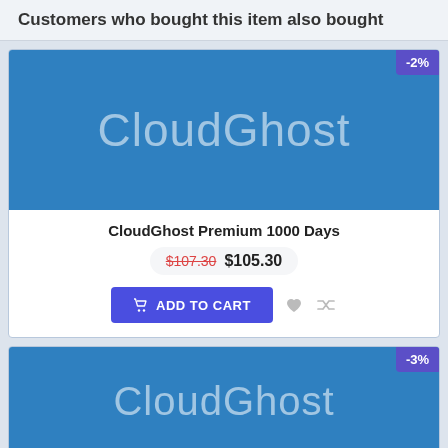Customers who bought this item also bought
[Figure (screenshot): Product card for CloudGhost Premium 1000 Days showing blue banner with CloudGhost logo, -2% discount badge, product name, old price $107.30, new price $105.30, and Add to Cart button]
[Figure (screenshot): Second product card showing CloudGhost blue banner with -3% discount badge, partially visible]